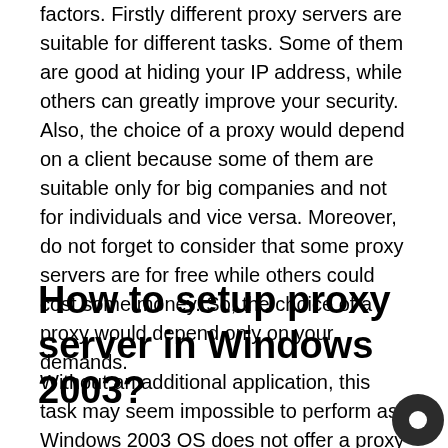factors. Firstly different proxy servers are suitable for different tasks. Some of them are good at hiding your IP address, while others can greatly improve your security. Also, the choice of a proxy would depend on a client because some of them are suitable only for big companies and not for individuals and vice versa. Moreover, do not forget to consider that some proxy servers are for free while others could cost some money. So, the choice of a proxy would depend only on your demands.
How to setup proxy server in Windows 2003?
Without an additional application, this task may seem impossible to perform as Windows 2003 OS does not offer a proxy service. If you want Windows 2003 Server to be used as a proxy server by other devices, install a third-party application. If your aim is to simply get access to other servers, open the Local Network Settings and complete the necessary steps.